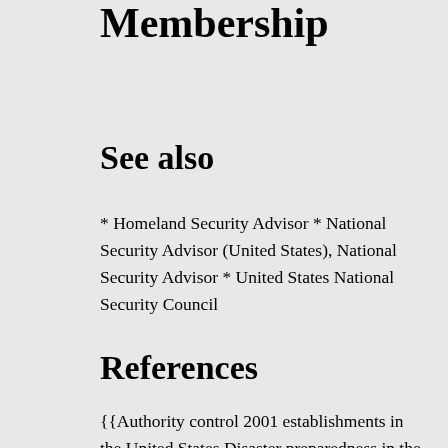Membership
See also
* Homeland Security Advisor * National Security Advisor (United States), National Security Advisor * United States National Security Council
References
{{Authority control 2001 establishments in the United States Disaster preparedness in the United States Executive Office of the President of the United States